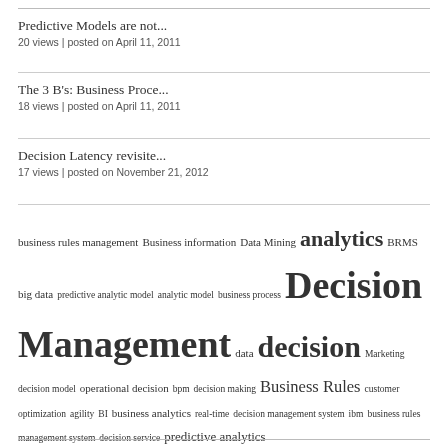Predictive Models are not...
20 views | posted on April 11, 2011
The 3 B's: Business Proce...
18 views | posted on April 11, 2011
Decision Latency revisite...
17 views | posted on November 21, 2012
business rules management Business information Data Mining analytics BRMS big data predictive analytic model analytic model business process Decision Management data decision Marketing decision model operational decision bpm decision making Business Rules customer optimization agility BI business analytics real-time decision management system ibm business rules management system decision service predictive analytics